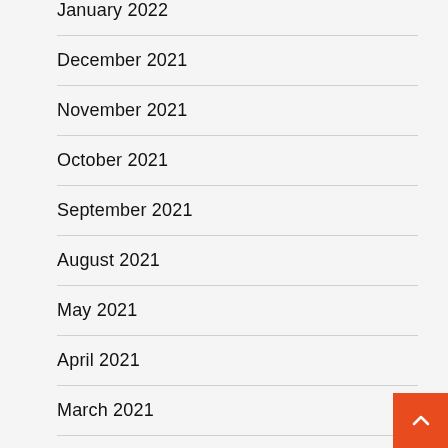January 2022
December 2021
November 2021
October 2021
September 2021
August 2021
May 2021
April 2021
March 2021
January 2021